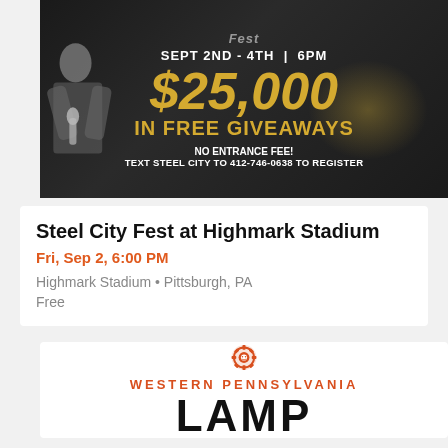[Figure (photo): Event promotional banner for Steel City Fest at Highmark Stadium. Dark background with a person holding a microphone on the left. Text reads: SEPT 2ND - 4TH | 6PM, $25,000 IN FREE GIVEAWAYS, NO ENTRANCE FEE! TEXT STEEL CITY TO 412-746-0638 TO REGISTER. Gold and dark color scheme.]
Steel City Fest at Highmark Stadium
Fri, Sep 2, 6:00 PM
Highmark Stadium • Pittsburgh, PA
Free
[Figure (logo): Western Pennsylvania LAMP logo. Red/orange gear-like icon at top, text WESTERN PENNSYLVANIA in red uppercase letters, and large bold black letters LAMP partially visible.]